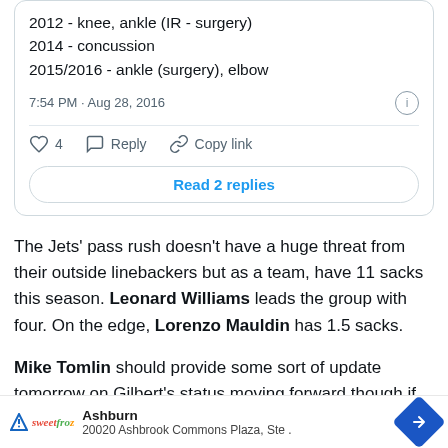2012 - knee, ankle (IR - surgery)
2014 - concussion
2015/2016 - ankle (surgery), elbow
7:54 PM · Aug 28, 2016
4   Reply   Copy link
Read 2 replies
The Jets' pass rush doesn't have a huge threat from their outside linebackers but as a team, have 11 sacks this season. Leonard Williams leads the group with four. On the edge, Lorenzo Mauldin has 1.5 sacks.
Mike Tomlin should provide some sort of update tomorrow on Gilbert's status moving forward though if his injury outlook is unclear, as Fowler indicates, it's unlikely Tomlin does a
Ashburn
20020 Ashbrook Commons Plaza, Ste .